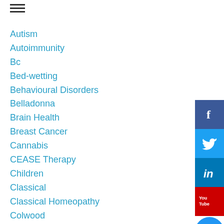≡ (hamburger menu icon)
Autism
Autoimmunity
Bc
Bed-wetting
Behavioural Disorders
Belladonna
Brain Health
Breast Cancer
Cannabis
CEASE Therapy
Children
Classical
Classical Homeopathy
Colwood
Coronavirus
Covid-19
Defiance
Dental Surgery
[Figure (infographic): Social media sharing buttons: Facebook (dark blue with f icon), Twitter (light blue with bird icon), LinkedIn (blue with 'in' icon), YouTube (red with YouTube logo), Email (blue circle with envelope icon)]